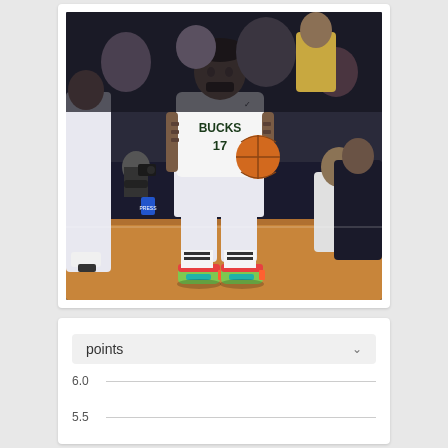[Figure (photo): NBA player wearing a Milwaukee Bucks #17 white jersey holding a basketball on a court, with spectators and photographers in the background. Player has visible tattoos and is wearing colorful sneakers.]
[Figure (screenshot): Stats widget showing a dropdown selector labeled 'points' with a chevron, and two y-axis gridlines labeled 6.0 and 5.5]